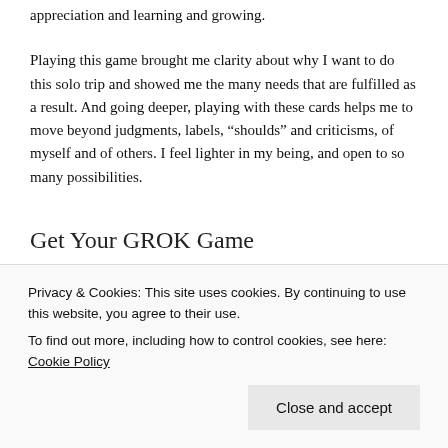appreciation and learning and growing.
Playing this game brought me clarity about why I want to do this solo trip and showed me the many needs that are fulfilled as a result. And going deeper, playing with these cards helps me to move beyond judgments, labels, “shoulds” and criticisms, of myself and of others. I feel lighter in my being, and open to so many possibilities.
Get Your GROK Game
Are you as intrigued by this game as I am? Are you eager
Privacy & Cookies: This site uses cookies. By continuing to use this website, you agree to their use.
To find out more, including how to control cookies, see here: Cookie Policy
excellent game for families to play, and there is even a